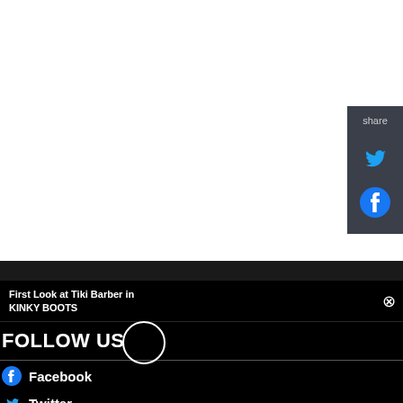[Figure (screenshot): Share panel with Twitter and Facebook icons on dark background]
First Look at Tiki Barber in KINKY BOOTS
FOLLOW US
Facebook
Twitter